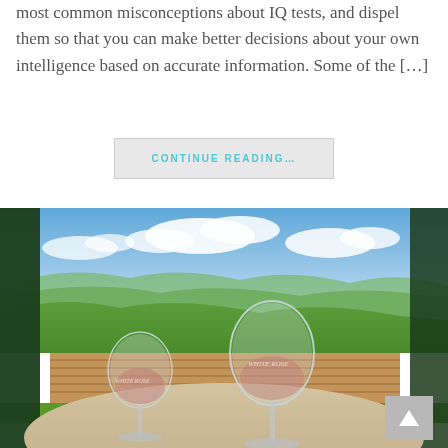most common misconceptions about IQ tests, and dispel them so that you can make better decisions about your own intelligence based on accurate information. Some of the […]
CONTINUE READING…
[Figure (photo): Two wine glasses with 'White Rose' branding on a table, overlooking a vineyard with rolling green hills and blue sky with clouds in the background.]